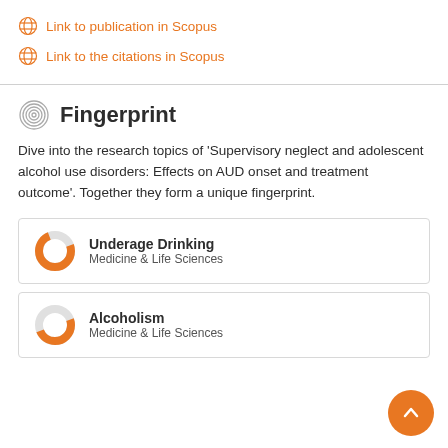Link to publication in Scopus
Link to the citations in Scopus
Fingerprint
Dive into the research topics of 'Supervisory neglect and adolescent alcohol use disorders: Effects on AUD onset and treatment outcome'. Together they form a unique fingerprint.
Underage Drinking
Medicine & Life Sciences
Alcoholism
Medicine & Life Sciences